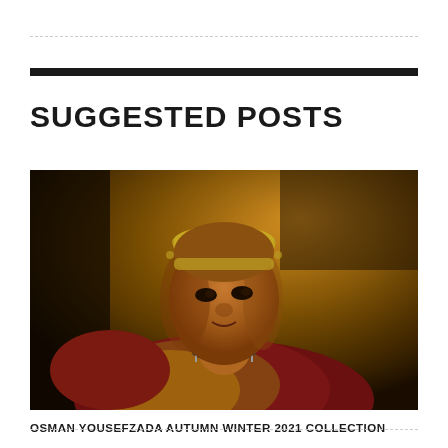SUGGESTED POSTS
[Figure (photo): Fashion editorial photograph of a model wearing a jeweled headpiece and ornate red sequined clothing with gold jewelry, dramatic dark warm-toned lighting background, close-up portrait style.]
OSMAN YOUSEFZADA AUTUMN WINTER 2021 COLLECTION